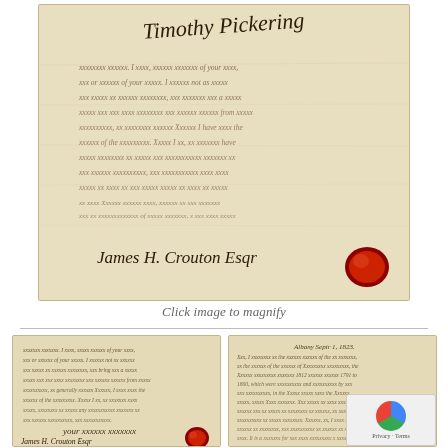[Figure (photo): Photograph of an aged historical handwritten letter/document on yellowed parchment paper. Visible cursive handwriting in faded ink. At bottom left reads 'James H. Crouton Esq' (or similar name in cursive). A red wax seal is visible at the bottom right corner. The top portion shows a signature reading 'Timothy Pickering' or similar.]
Click image to magnify
[Figure (photo): Smaller thumbnail of the same handwritten historical letter, left portion. Shows cursive handwriting throughout. Bottom left shows 'James H. Crouton Esq' signature. Red wax seal at bottom right corner.]
[Figure (photo): Smaller thumbnail of a second handwritten historical letter, right portion. Shows cursive handwriting with date appearing to read 'Albany Septr 1823' or similar at top. Dense handwritten text throughout.]